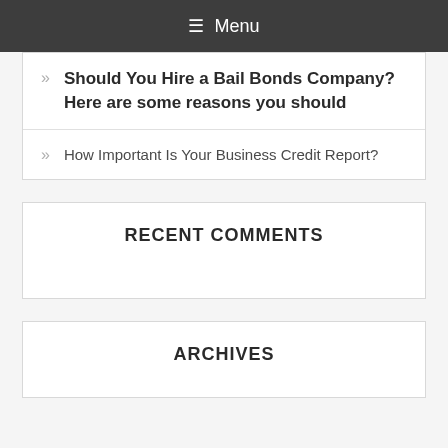≡ Menu
Should You Hire a Bail Bonds Company? Here are some reasons you should
How Important Is Your Business Credit Report?
RECENT COMMENTS
ARCHIVES